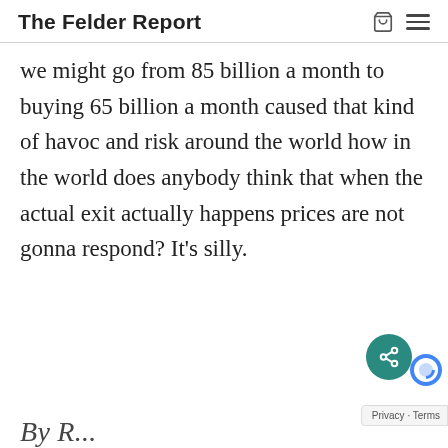The Felder Report
we might go from 85 billion a month to buying 65 billion a month caused that kind of havoc and risk around the world how in the world does anybody think that when the actual exit actually happens prices are not gonna respond? It's silly.